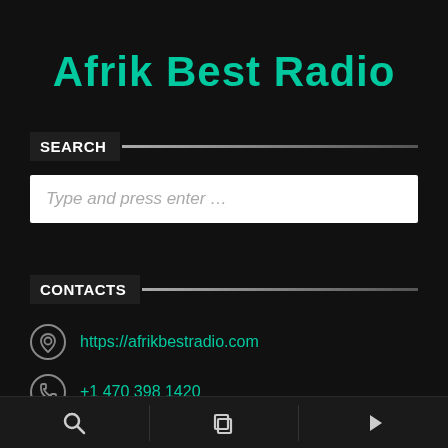Afrik Best Radio
SEARCH
Type and press enter …
CONTACTS
https://afrikbestradio.com
+1 470 398 1420